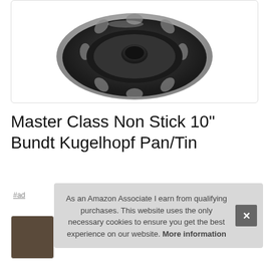[Figure (photo): Top-down view of a dark non-stick Bundt/Kugelhopf pan with fluted edges and central tube, shown inside a white bordered product image box]
Master Class Non Stick 10" Bundt Kugelhopf Pan/Tin
#ad
As an Amazon Associate I earn from qualifying purchases. This website uses the only necessary cookies to ensure you get the best experience on our website. More information